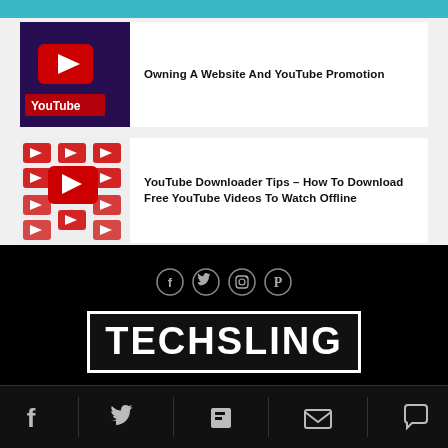[Figure (screenshot): YouTube logo/thumbnail image with red play button on dark background with 'YouTube' text]
Owning A Website And YouTube Promotion
[Figure (screenshot): YouTube icons pattern on red/white background, multiple play button icons]
YouTube Downloader Tips – How To Download Free YouTube Videos To Watch Offline
[Figure (infographic): Social media icons: Facebook, Twitter, Instagram, Pinterest in circular outlines]
[Figure (logo): TECHSLING logo in white bold letters on black background with white border rectangle]
[Figure (infographic): Bottom navigation icons: Facebook, Twitter, Flipboard, Email, Comment]